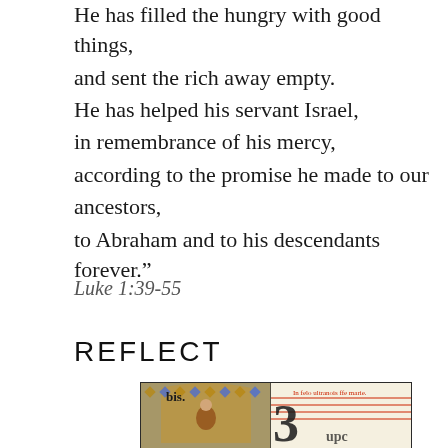He has filled the hungry with good things,
and sent the rich away empty.
He has helped his servant Israel,
in remembrance of his mercy,
according to the promise he made to our ancestors,
to Abraham and to his descendants forever."
Luke 1:39-55
REFLECT
[Figure (photo): Medieval illuminated manuscript page showing an ornate decorated initial letter with a figure, gold and blue mosaic background, with gothic script text visible including 'bis.' and Latin text. Right side shows a large decorative letter '3' (or B) with musical notation lines.]